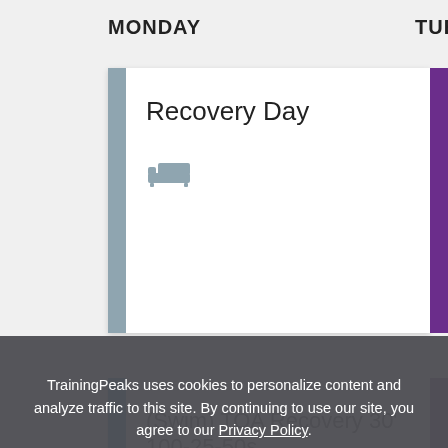MONDAY
TUES
Recovery Day
(Swim) TOA Recovery 30' 100-25-50s
00:30:00
Details
TrainingPeaks uses cookies to personalize content and analyze traffic to this site. By continuing to use our site, you agree to our Privacy Policy.
Close